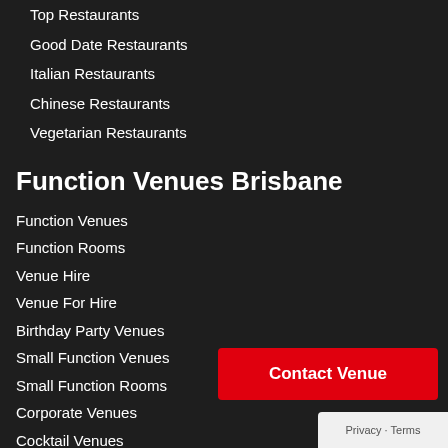Top Restaurants
Good Date Restaurants
Italian Restaurants
Chinese Restaurants
Vegetarian Restaurants
Function Venues Brisbane
Function Venues
Function Rooms
Venue Hire
Venue For Hire
Birthday Party Venues
Small Function Venues
Small Function Rooms
Corporate Venues
Cocktail Venues
Contact Venue
Privacy · Terms